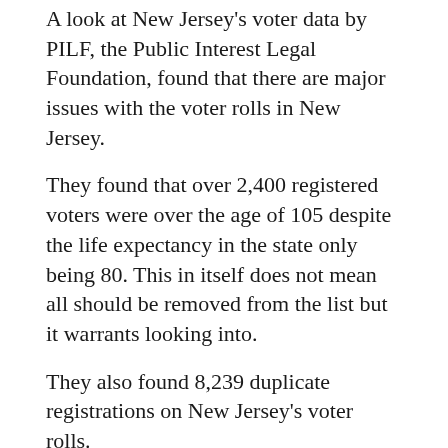A look at New Jersey's voter data by PILF, the Public Interest Legal Foundation, found that there are major issues with the voter rolls in New Jersey.
They found that over 2,400 registered voters were over the age of 105 despite the life expectancy in the state only being 80. This in itself does not mean all should be removed from the list but it warrants looking into.
They also found 8,239 duplicate registrations on New Jersey's voter rolls.
From Breitbart:
Nearly 2,400 registrants listed on New Jersey's voter rolls are 105 years old or older, according to a review of data by the Public